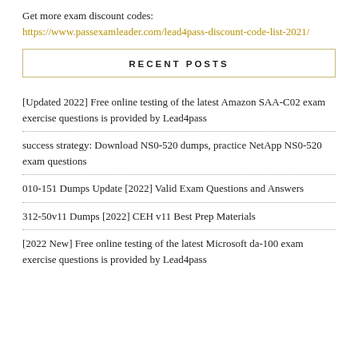Get more exam discount codes: https://www.passexamleader.com/lead4pass-discount-code-list-2021/
RECENT POSTS
[Updated 2022] Free online testing of the latest Amazon SAA-C02 exam exercise questions is provided by Lead4pass
success strategy: Download NS0-520 dumps, practice NetApp NS0-520 exam questions
010-151 Dumps Update [2022] Valid Exam Questions and Answers
312-50v11 Dumps [2022] CEH v11 Best Prep Materials
[2022 New] Free online testing of the latest Microsoft da-100 exam exercise questions is provided by Lead4pass